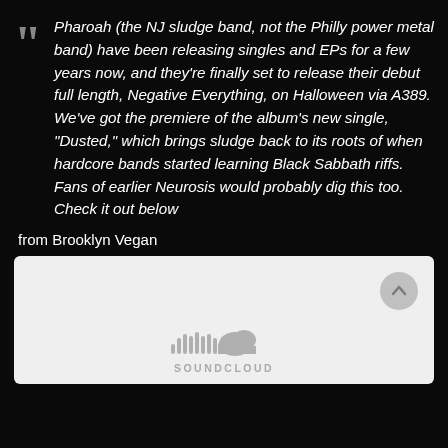Pharoah (the NJ sludge band, not the Philly power metal band) have been releasing singles and EPs for a few years now, and they're finally set to release their debut full length, Negative Everything, on Halloween via A389. We've got the premiere of the album's new single, "Dusted," which brings sludge back to its roots of when hardcore bands started learning Black Sabbath riffs. Fans of earlier Neurosis would probably dig this too. Check it out below
from Brooklyn Vegan
[Figure (screenshot): SoundCloud embed player widget with gray background, SoundCloud logo (bars + cloud icon) and SOUNDCLOUD wordmark]